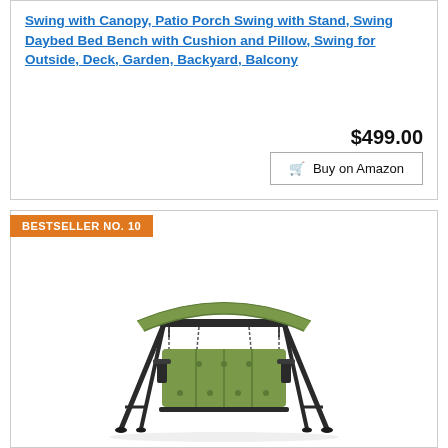Swing with Canopy, Patio Porch Swing with Stand, Swing Daybed Bed Bench with Cushion and Pillow, Swing for Outside, Deck, Garden, Backyard, Balcony
$499.00
Buy on Amazon
BESTSELLER NO. 10
[Figure (photo): A three-seat patio porch swing with a green canopy and green cushions, supported by a dark metal A-frame stand.]